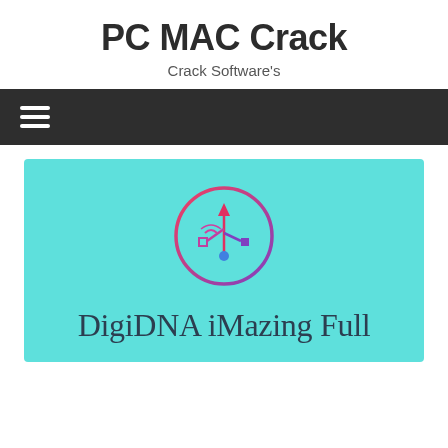PC MAC Crack
Crack Software's
[Figure (screenshot): Dark navigation bar with hamburger menu icon (three horizontal white lines) on dark gray background]
[Figure (illustration): Cyan/turquoise banner featuring a USB/wireless icon in a pink-to-purple gradient circle, with text 'DigiDNA iMazing Full' below in dark serif font]